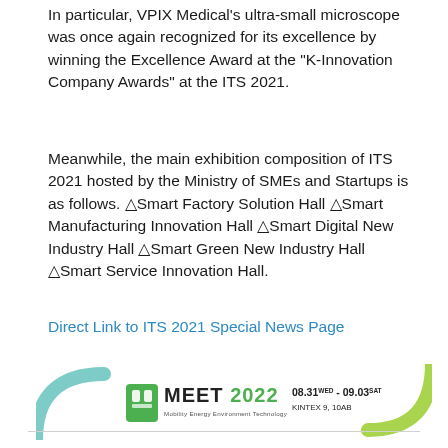In particular, VPIX Medical's ultra-small microscope was once again recognized for its excellence by winning the Excellence Award at the "K-Innovation Company Awards" at the ITS 2021.
Meanwhile, the main exhibition composition of ITS 2021 hosted by the Ministry of SMEs and Startups is as follows. △Smart Factory Solution Hall △Smart Manufacturing Innovation Hall △Smart Digital New Industry Hall △Smart Green New Industry Hall △Smart Service Innovation Hall.
Direct Link to ITS 2021 Special News Page
[Figure (illustration): MEET 2022 banner showing logo text 'MEET 2022 Mobility Energy Environment Technology' with dates '08.31 WED - 09.03 SAT KINTEX 9, 10AB' and decorative arcs on both sides]